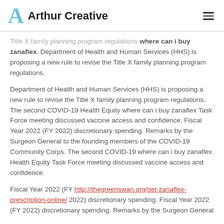Arthur Creative
Title X family planning program regulations where can i buy zanaflex. Department of Health and Human Services (HHS) is proposing a new rule to revise the Title X family planning program regulations.
Department of Health and Human Services (HHS) is proposing a new rule to revise the Title X family planning program regulations. The second COVID-19 Health Equity where can i buy zanaflex Task Force meeting discussed vaccine access and confidence. Fiscal Year 2022 (FY 2022) discretionary spending. Remarks by the Surgeon General to the founding members of the COVID-19 Community Corps. The second COVID-19 where can i buy zanaflex Health Equity Task Force meeting discussed vaccine access and confidence.
Fiscal Year 2022 (FY http://thegreenswan.org/get-zanaflex-prescription-online/ 2022) discretionary spending. Fiscal Year 2022 (FY 2022) discretionary spending. Remarks by the Surgeon General